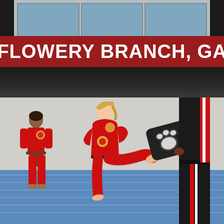[Figure (photo): Top section with dark background showing windows/building exterior at top, red banner with white bold text 'FLOWERY BRANCH, GA', and dark fade below the banner]
FLOWERY BRANCH, GA
[Figure (photo): Children practicing martial arts (taekwondo) in red uniforms on blue mat. A girl in a red gi is executing a kick toward a black kick pad held by an instructor in a black uniform on the right. Another child in a red gi with a brown belt stands to the left.]